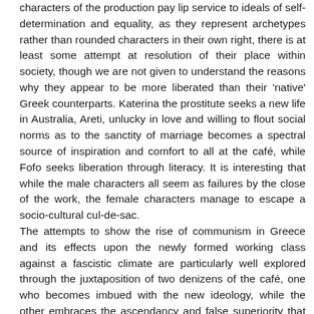characters of the production pay lip service to ideals of self-determination and equality, as they represent archetypes rather than rounded characters in their own right, there is at least some attempt at resolution of their place within society, though we are not given to understand the reasons why they appear to be more liberated than their 'native' Greek counterparts. Katerina the prostitute seeks a new life in Australia, Areti, unlucky in love and willing to flout social norms as to the sanctity of marriage becomes a spectral source of inspiration and comfort to all at the café, while Fofo seeks liberation through literacy. It is interesting that while the male characters all seem as failures by the close of the work, the female characters manage to escape a socio-cultural cul-de-sac. The attempts to show the rise of communism in Greece and its effects upon the newly formed working class against a fascistic climate are particularly well explored through the juxtaposition of two denizens of the café, one who becomes imbued with the new ideology, while the other embraces the ascendancy and false superiority that serving the fascist regime brings him. All the while, the laconic Grigoris, much in the same fashion as Benjamin the donkey in Orwell's 'Animal